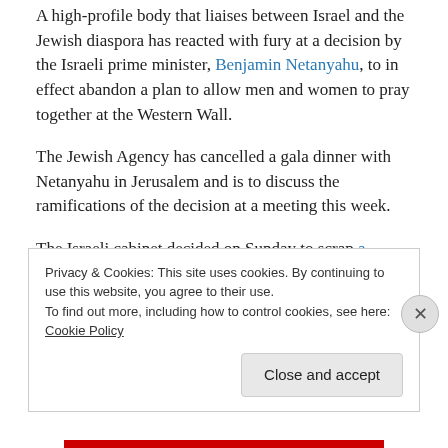A high-profile body that liaises between Israel and the Jewish diaspora has reacted with fury at a decision by the Israeli prime minister, Benjamin Netanyahu, to in effect abandon a plan to allow men and women to pray together at the Western Wall.
The Jewish Agency has cancelled a gala dinner with Netanyahu in Jerusalem and is to discuss the ramifications of the decision at a meeting this week.
The Israeli cabinet decided on Sunday to scrap a compromise agreement made 17 months ago, which was
Privacy & Cookies: This site uses cookies. By continuing to use this website, you agree to their use.
To find out more, including how to control cookies, see here: Cookie Policy